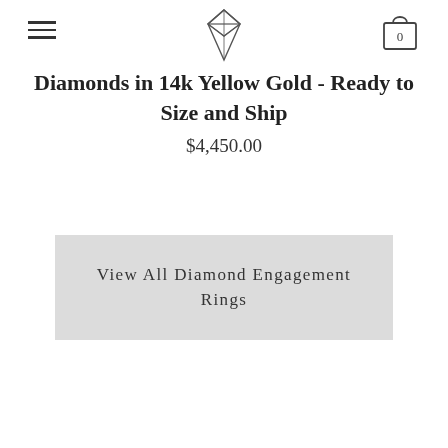Navigation bar with hamburger menu, logo, and cart icon (0 items)
Diamonds in 14k Yellow Gold - Ready to Size and Ship
$4,450.00
View All Diamond Engagement Rings